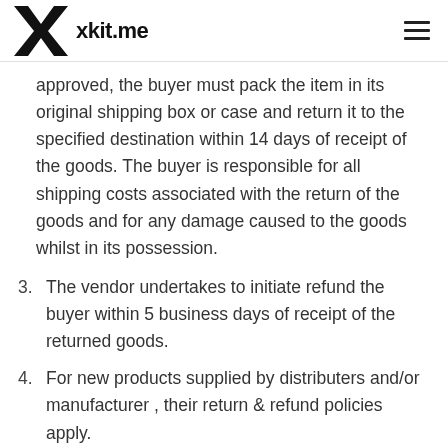xkit.me
...entitled to approve or refuse any return at its sole discretion. If the return has been approved, the buyer must pack the item in its original shipping box or case and return it to the specified destination within 14 days of receipt of the goods. The buyer is responsible for all shipping costs associated with the return of the goods and for any damage caused to the goods whilst in its possession.
3. The vendor undertakes to initiate refund the buyer within 5 business days of receipt of the returned goods.
4. For new products supplied by distributers and/or manufacturer , their return & refund policies apply.
13. Cancellation